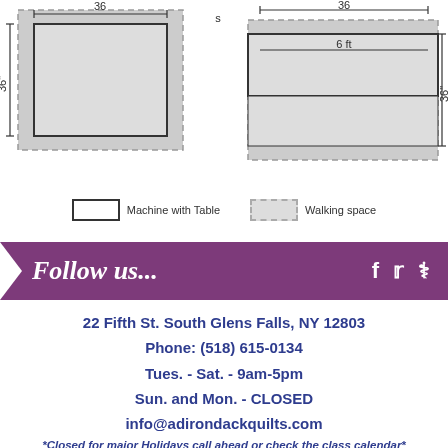[Figure (engineering-diagram): Two rectangular diagrams showing machine with table dimensions (36 inches wide, 36 inches tall on left; 36 inches wide with 6 ft label, 36 inches tall on right), with dashed walking space borders around each.]
Machine with Table   Walking space
[Figure (infographic): Purple banner with white arrow chevron on left, 'Follow us...' in italic script, and social media icons for Facebook, Twitter, Pinterest on right.]
22 Fifth St. South Glens Falls, NY 12803
Phone: (518) 615-0134
Tues. - Sat. - 9am-5pm
Sun. and Mon. - CLOSED
info@adirondackquilts.com
*Closed for major Holidays call ahead or check the class calendar*